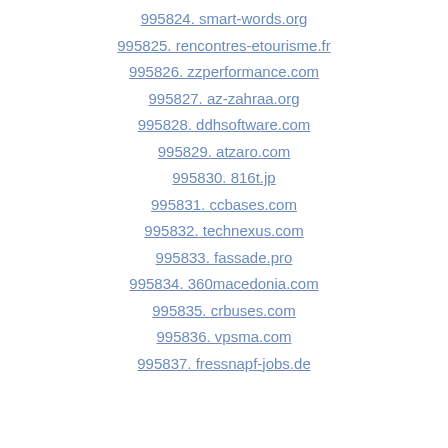995824. smart-words.org
995825. rencontres-etourisme.fr
995826. zzperformance.com
995827. az-zahraa.org
995828. ddhsoftware.com
995829. atzaro.com
995830. 816t.jp
995831. ccbases.com
995832. technexus.com
995833. fassade.pro
995834. 360macedonia.com
995835. crbuses.com
995836. vpsma.com
995837. fressnapf-jobs.de